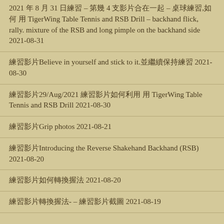2021 年 8 月 31 日練習 – 第幾 4 支影片合在一起 – 桌球練習,如何 用TigerWing Table Tennis and RSB Drill – backhand flick, rally. mixture of the RSB and long pimple on the backhand side 2021-08-31
練習影片Believe in yourself and stick to it.並繼續保持練習 2021-08-30
練習影片29/Aug/2021 練習影片如何利用 用 TigerWing Table Tennis and RSB Drill 2021-08-30
練習影片Grip photos 2021-08-21
練習影片Introducing the Reverse Shakehand Backhand (RSB) 2021-08-20
練習影片如何轉換握法 2021-08-20
練習影片轉換握法- – 練習影片截圖 2021-08-19